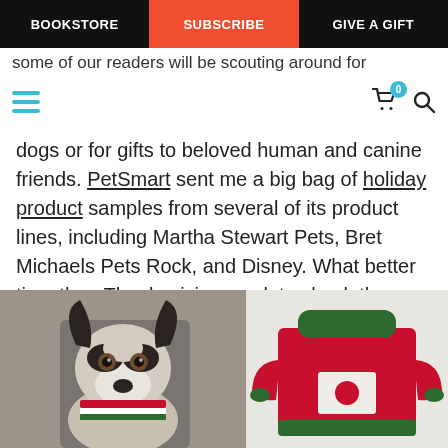BOOKSTORE | SUBSCRIBE | GIVE A GIFT
some of our readers will be scouting around for
dogs or for gifts to beloved human and canine friends. PetSmart sent me a big bag of holiday product samples from several of its product lines, including Martha Stewart Pets, Bret Michaels Pets Rock, and Disney. What better time than Thanksgiving week to check them out?
[Figure (photo): Photo of a Boston Terrier dog wearing a holiday-striped scarf, seated on a gray chair]
[Figure (photo): Photo of a red Christmas dog sweater with green collar trim]